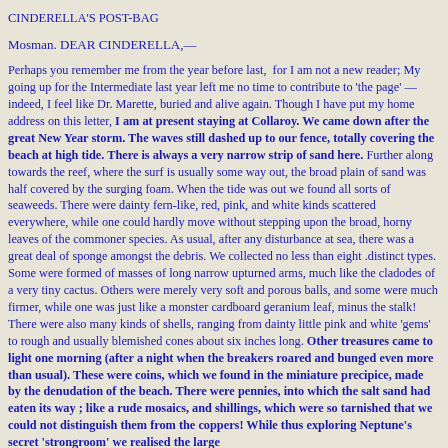CINDERELLA'S POST-BAG
Mosman. DEAR CINDERELLA,—
Perhaps you remember me from the year before last, for I am not a new reader; My going up for the Intermediate last year left me no time to contribute to 'the page' — indeed, I feel like Dr. Marette, buried and alive again. Though I have put my home address on this letter, I am at present staying at Collaroy. We came down after the great New Year storm. The waves still dashed up to our fence, totally covering the beach at high tide. There is always a very narrow strip of sand here. Further along towards the reef, where the surf is usually some way out, the broad plain of sand was half covered by the surging foam. When the tide was out we found all sorts of seaweeds. There were dainty fern-like, red, pink, and white kinds scattered everywhere, while one could hardly move without stepping upon the broad, horny leaves of the commoner species. As usual, after any disturbance at sea, there was a great deal of sponge amongst the debris. We collected no less than eight .distinct types. Some were formed of masses of long narrow upturned arms, much like the cladodes of a very tiny cactus. Others were merely very soft and porous balls, and some were much firmer, while one was just like a monster cardboard geranium leaf, minus the stalk! There were also many kinds of shells, ranging from dainty little pink and white 'gems' to rough and usually blemished cones about six inches long. Other treasures came to light one morning (after a night when the breakers roared and bunged even more than usual). These were coins, which we found in the miniature precipice, made by the denudation of the beach. There were pennies, into which the salt sand had eaten its way ; like a rude mosaics, and shillings, which were so tarnished that we could not distinguish them from the coppers! While thus exploring Neptune's secret 'strongroom' we realised the large